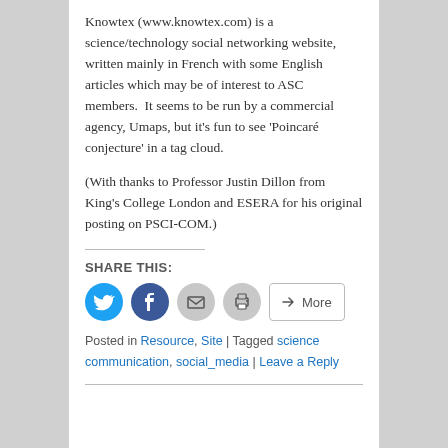Knowtex (www.knowtex.com) is a science/technology social networking website, written mainly in French with some English articles which may be of interest to ASC members.  It seems to be run by a commercial agency, Umaps, but it's fun to see 'Poincaré conjecture' in a tag cloud.
(With thanks to Professor Justin Dillon from King's College London and ESERA for his original posting on PSCI-COM.)
SHARE THIS:
[Figure (infographic): Social sharing buttons: Twitter (blue circle), Facebook (dark blue circle), Email (grey circle), Print (grey circle), More (outlined rectangle button)]
Posted in Resource, Site | Tagged science communication, social_media | Leave a Reply